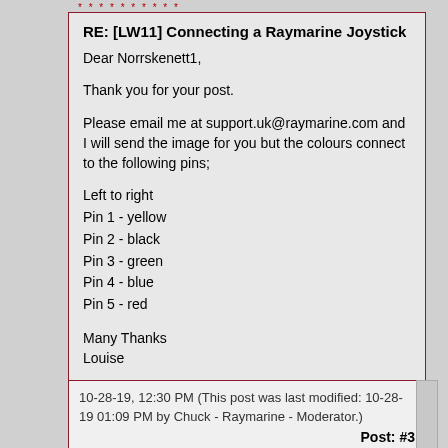RE: [LW11] Connecting a Raymarine Joystick
Dear Norrskenett1,

Thank you for your post.

Please email me at support.uk@raymarine.com and I will send the image for you but the colours connect to the following pins;

Left to right
Pin 1 - yellow
Pin 2 - black
Pin 3 - green
Pin 4 - blue
Pin 5 - red

Many Thanks
Louise
[Figure (screenshot): A blue FIND button with magnifying glass icon]
10-28-19, 12:30 PM (This post was last modified: 10-28-19 01:09 PM by Chuck - Raymarine - Moderator.)

Post: #3